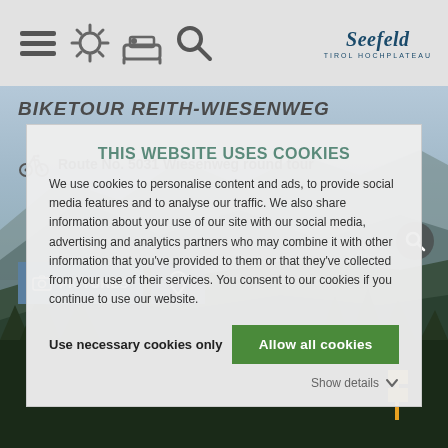[Figure (screenshot): Website screenshot of Seefeld Tirol Hochplateau - Biketour Reith-Wiesenweg page with navigation bar, background mountain photo, and a cookie consent overlay dialog]
Seefeld Tirol Hochplateau navigation bar with menu, weather, accommodation, search icons and Seefeld logo
BIKETOUR REITH-WIESENWEG
Route No. 5031 Wiesenweg round tour
THIS WEBSITE USES COOKIES
We use cookies to personalise content and ads, to provide social media features and to analyse our traffic. We also share information about your use of our site with our social media, advertising and analytics partners who may combine it with other information that you've provided to them or that they've collected from your use of their services. You consent to our cookies if you continue to use our website.
Use necessary cookies only
Allow all cookies
Show details